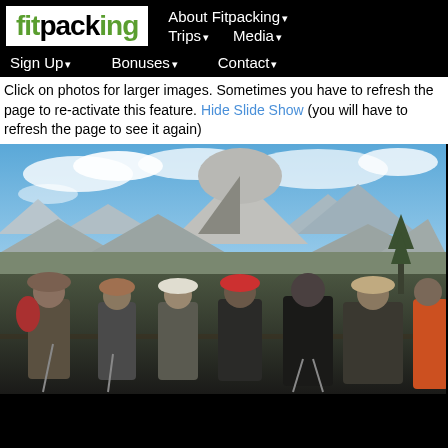fitpacking | About Fitpacking | Trips | Media | Sign Up | Bonuses | Contact
Click on photos for larger images. Sometimes you have to refresh the page to re-activate this feature. Hide Slide Show (you will have to refresh the page to see it again)
[Figure (photo): Group of hikers with backpacks posing in front of Half Dome, Yosemite, with mountains and blue sky in the background]